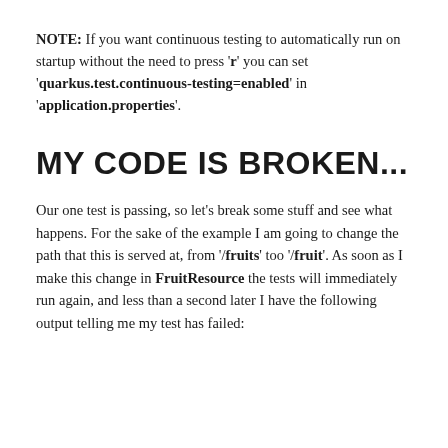NOTE: If you want continuous testing to automatically run on startup without the need to press 'r' you can set 'quarkus.test.continuous-testing=enabled' in 'application.properties'.
MY CODE IS BROKEN...
Our one test is passing, so let's break some stuff and see what happens. For the sake of the example I am going to change the path that this is served at, from '/fruits' too '/fruit'. As soon as I make this change in FruitResource the tests will immediately run again, and less than a second later I have the following output telling me my test has failed: